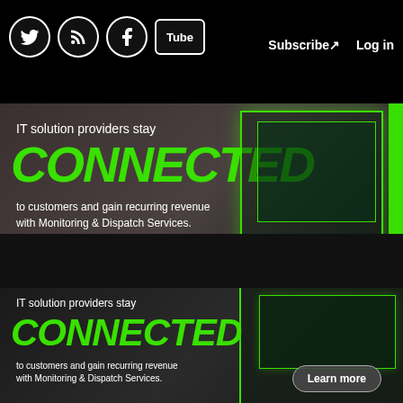Social icons: Twitter, RSS, Facebook, YouTube | Subscribe | Log in
[Figure (screenshot): Ad banner: IT solution providers stay CONNECTED to customers and gain recurring revenue with Monitoring & Dispatch Services.]
ChannelPro Network
BDR | CLOUD COMPUTING | HARDWARE | IOT | MANAGED SERVICES | SECURITY | SERVERS | STORAGE | DIVERSITY | K-12 EDUCATION | VERTICAL MARKETS | VOIP/UC | GROW YOUR BUSINESS | ALL >>
PALO ALTO UNVEILS SASE
[Figure (screenshot): Bottom overlay ad: IT solution providers stay CONNECTED to customers and gain recurring revenue with Monitoring & Dispatch Services. Learn more button.]